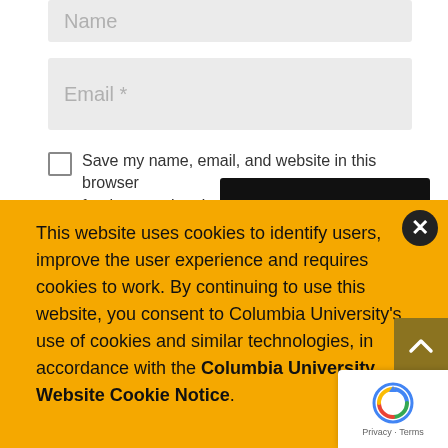Name
Email *
Save my name, email, and website in this browser for the next time I comment.
This website uses cookies to identify users, improve the user experience and requires cookies to work. By continuing to use this website, you consent to Columbia University's use of cookies and similar technologies, in accordance with the Columbia University Website Cookie Notice.